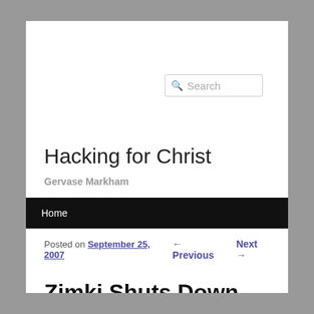Search
Hacking for Christ
Gervase Markham
Home
Posted on September 25, 2007 ← Previous Next →
Zimki Shuts Down